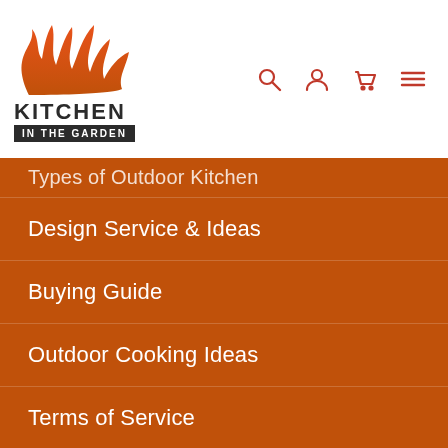[Figure (logo): Kitchen in the Garden logo with orange flame graphic above text 'KITCHEN IN THE GARDEN']
Types of Outdoor Kitchen
Design Service & Ideas
Buying Guide
Outdoor Cooking Ideas
Terms of Service
Refund policy